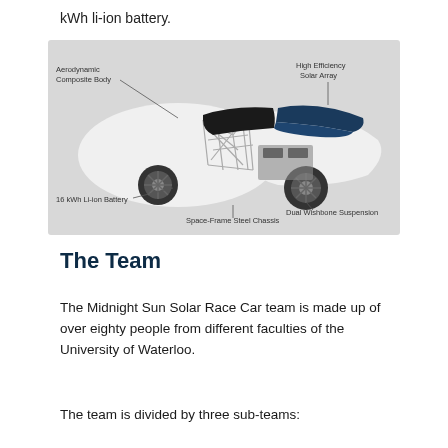kWh li-ion battery.
[Figure (engineering-diagram): Cutaway diagram of a solar race car showing labeled components: Aerodynamic Composite Body (upper left), High Efficiency Solar Array (upper right), 16 kWh Li-ion Battery (lower left), Space-Frame Steel Chassis (lower center), Dual Wishbone Suspension (lower right).]
The Team
The Midnight Sun Solar Race Car team is made up of over eighty people from different faculties of the University of Waterloo.
The team is divided by three sub-teams: